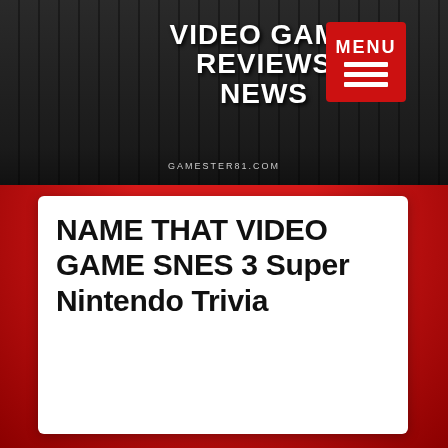[Figure (logo): Gamester81.com website header with 'Video Game Reviews News' logo in white bold text on dark striped background, red MENU button top right]
NAME THAT VIDEO GAME SNES 3 Super Nintendo Trivia